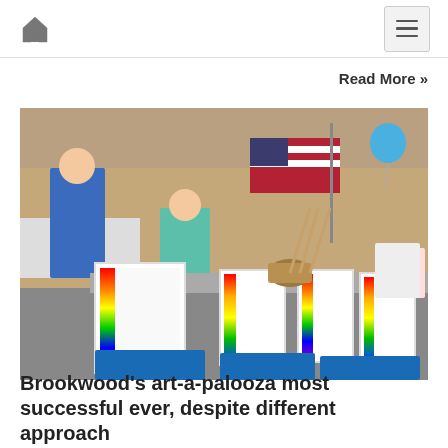Home navigation and menu button
Read More »
[Figure (photo): Indoor event hall with colorful art auction display items on tables. Framed items with rainbow paint splash designs and blue poster prints are arranged on a gray carpet floor. An American flag hangs in the background. A man in a blue plaid shirt and a woman in a teal shirt are visible near the booth.]
Brookwood's art-a-palooza most successful ever, despite different approach